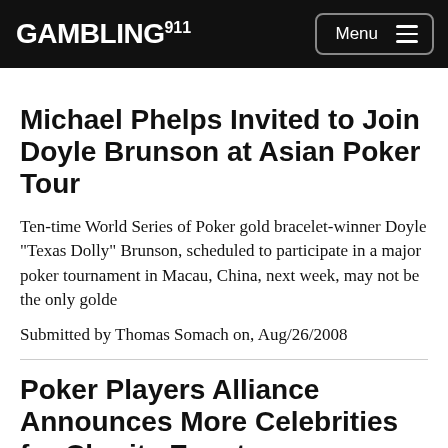GAMBLING911 Menu
Michael Phelps Invited to Join Doyle Brunson at Asian Poker Tour
Ten-time World Series of Poker gold bracelet-winner Doyle "Texas Dolly" Brunson, scheduled to participate in a major poker tournament in Macau, China, next week, may not be the only golde
Submitted by Thomas Somach on, Aug/26/2008
Poker Players Alliance Announces More Celebrities for Charity Event